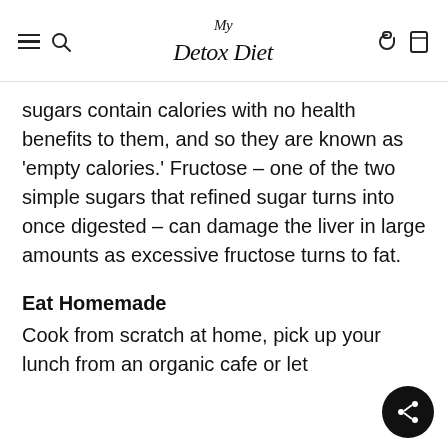My Detox Diet
sugars contain calories with no health benefits to them, and so they are known as 'empty calories.' Fructose – one of the two simple sugars that refined sugar turns into once digested – can damage the liver in large amounts as excessive fructose turns to fat.
Eat Homemade
Cook from scratch at home, pick up your lunch from an organic cafe or let